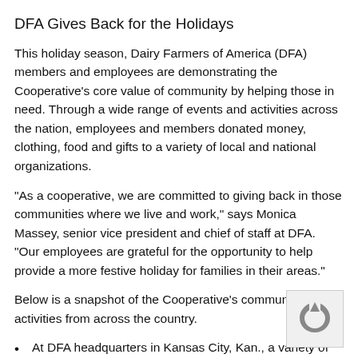DFA Gives Back for the Holidays
This holiday season, Dairy Farmers of America (DFA) members and employees are demonstrating the Cooperative’s core value of community by helping those in need. Through a wide range of events and activities across the nation, employees and members donated money, clothing, food and gifts to a variety of local and national organizations.
“As a cooperative, we are committed to giving back in those communities where we live and work,” says Monica Massey, senior vice president and chief of staff at DFA. “Our employees are grateful for the opportunity to help provide a more festive holiday for families in their areas.”
Below is a snapshot of the Cooperative’s community giving activities from across the country.
At DFA headquarters in Kansas City, Kan., a variety of activities were held, including raffles and a chili cook-off